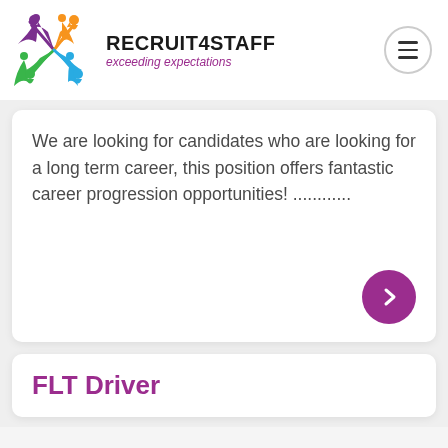[Figure (logo): Recruit4Staff logo with colorful star figure and brand name text]
We are looking for candidates who are looking for a long term career, this position offers fantastic career progression opportunities! …………
FLT Driver